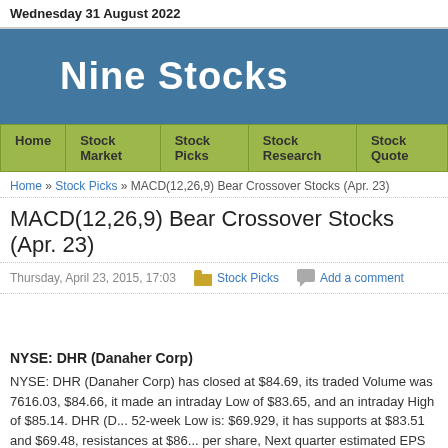Wednesday 31 August 2022
Nine Stocks
Home | Stock Market | Stock Picks | Stock Research | Stock Quote
Home » Stock Picks » MACD(12,26,9) Bear Crossover Stocks (Apr. 23)
MACD(12,26,9) Bear Crossover Stocks (Apr. 23)
Thursday, April 23, 2015, 17:03    Stock Picks    Add a comment
NYSE: DHR (Danaher Corp)
NYSE: DHR (Danaher Corp) has closed at $84.69, its traded Volume was 7616.03, $84.66, it made an intraday Low of $83.65, and an intraday High of $85.14. DHR (D... 52-week Low is: $69.929, it has supports at $83.51 and $69.48, resistances at $86... per share, Next quarter estimated EPS is $0, current year estimated EPS is $0. Its...